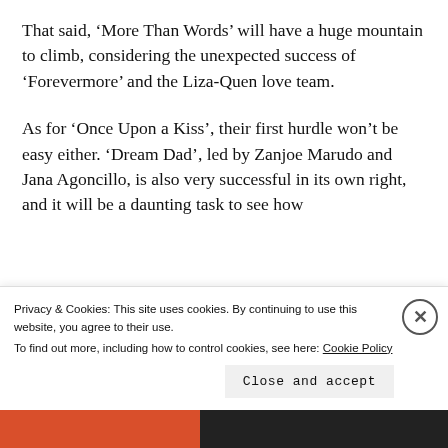That said, ‘More Than Words’ will have a huge mountain to climb, considering the unexpected success of ‘Forevermore’ and the Liza-Quen love team.
As for ‘Once Upon a Kiss’, their first hurdle won’t be easy either. ‘Dream Dad’, led by Zanjoe Marudo and Jana Agoncillo, is also very successful in its own right, and it will be a daunting task to see how
Privacy & Cookies: This site uses cookies. By continuing to use this website, you agree to their use.
To find out more, including how to control cookies, see here: Cookie Policy